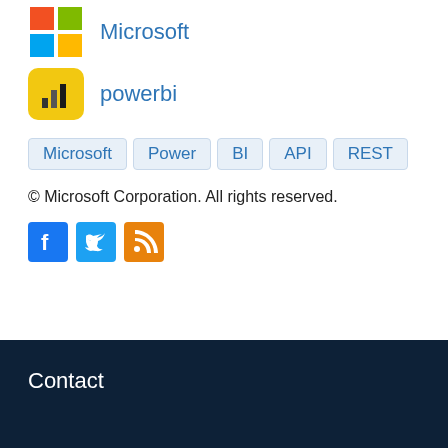Domain Owners
[Figure (logo): Microsoft logo (4-color grid) and 'Microsoft' label]
[Figure (logo): Power BI logo (yellow rounded square with bar chart icon) and 'powerbi' label]
Microsoft
Power
BI
API
REST
© Microsoft Corporation. All rights reserved.
[Figure (logo): Facebook, Twitter, and RSS social media icons]
Contact